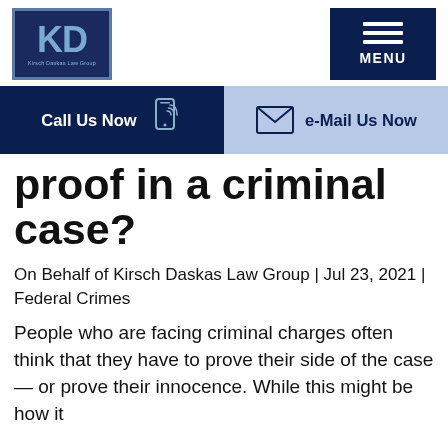[Figure (logo): Kirsch Daskas Law Group logo with KD letters in dark navy box with blue border]
[Figure (other): Dark navy MENU button with three horizontal lines]
Call Us Now  |  e-Mail Us Now
proof in a criminal case?
On Behalf of Kirsch Daskas Law Group | Jul 23, 2021 | Federal Crimes
People who are facing criminal charges often think that they have to prove their side of the case — or prove their innocence. While this might be how it